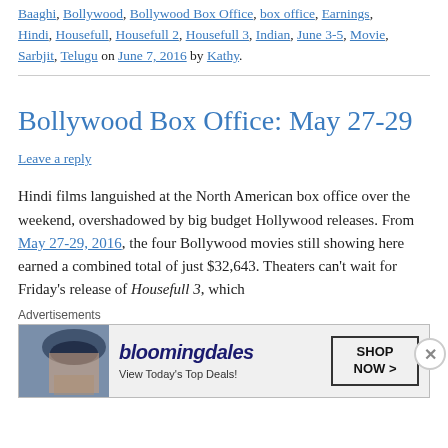Baaghi, Bollywood, Bollywood Box Office, box office, Earnings, Hindi, Housefull, Housefull 2, Housefull 3, Indian, June 3-5, Movie, Sarbjit, Telugu on June 7, 2016 by Kathy.
Bollywood Box Office: May 27-29
Leave a reply
Hindi films languished at the North American box office over the weekend, overshadowed by big budget Hollywood releases. From May 27-29, 2016, the four Bollywood movies still showing here earned a combined total of just $32,643. Theaters can't wait for Friday's release of Housefull 3, which
Advertisements
[Figure (other): Bloomingdale's advertisement banner: logo text 'bloomingdales', subtext 'View Today's Top Deals!', with a shop now button and a woman wearing a hat.]